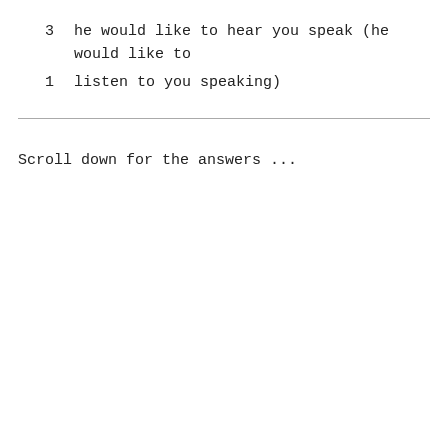3   he would like to hear you speak (he would like to
1   listen to you speaking)
Scroll down for the answers ...